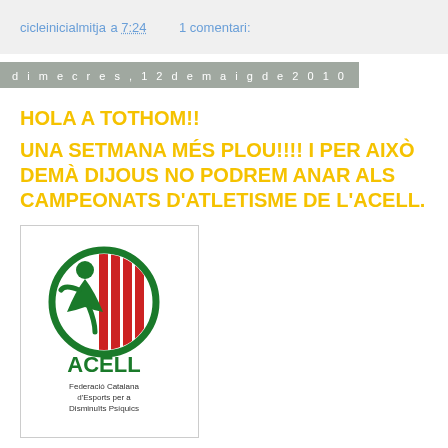cicleinicialmitja a 7:24    1 comentari:
dimecres, 12 de maig de 2010
HOLA A TOTHOM!!
UNA SETMANA MÉS PLOU!!!! I PER AIXÒ DEMÀ DIJOUS NO PODREM ANAR ALS CAMPEONATS D'ATLETISME DE L'ACELL.
[Figure (logo): ACELL logo - Federació Catalana d'Esports per a Disminuïts Psíquics, circular green and red emblem with stylized person figure]
AIXÍ QUE ANIREM A LA PISCINA COM CADA DIJOUS.
[Figure (photo): Swimming pool with water reflections and lane dividers]